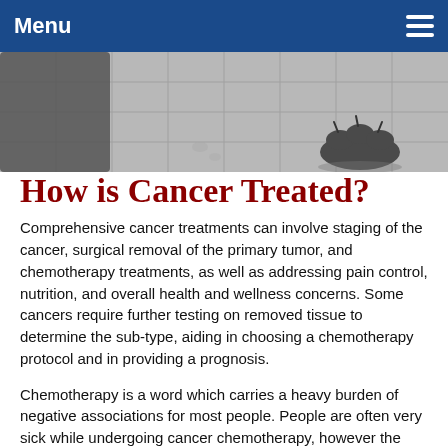Menu
[Figure (photo): Close-up photo of a dog's paw on a tiled or concrete floor, showing dark fur and claws.]
How is Cancer Treated?
Comprehensive cancer treatments can involve staging of the cancer, surgical removal of the primary tumor, and chemotherapy treatments, as well as addressing pain control, nutrition, and overall health and wellness concerns. Some cancers require further testing on removed tissue to determine the sub-type, aiding in choosing a chemotherapy protocol and in providing a prognosis.
Chemotherapy is a word which carries a heavy burden of negative associations for most people. People are often very sick while undergoing cancer chemotherapy, however the treatment process is different in many ways